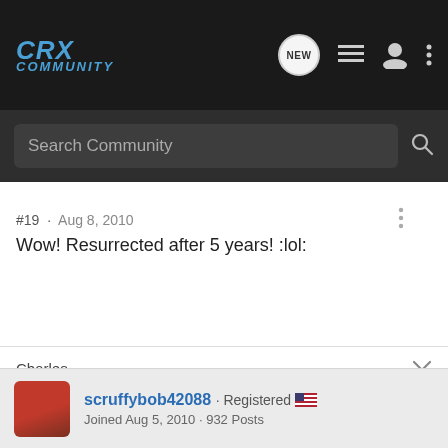CRX Community
Search Community
#19 · Aug 8, 2010
Wow! Resurrected after 5 years! :lol:
Charles
91 Tahitian Green CRX Si (Sold - viewtopic.php?f=26&t=56874)
scruffybob42088 · Registered  Joined Aug 5, 2010 · 932 Posts